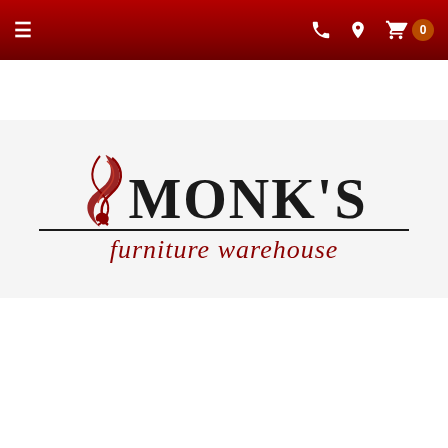≡  (phone) (location) (cart) 0
[Figure (logo): Monk's Furniture Warehouse logo with decorative swirl and serif text]
SHOP ▾  (search icon)
[Figure (photo): A mattress product photo showing a grey and white foam mattress on white background]